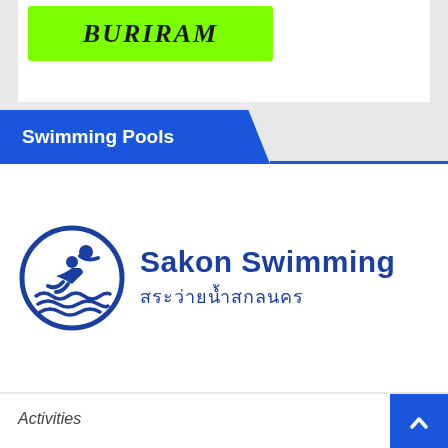[Figure (logo): Green banner with 'BURIRAM' text in bold italic serif font on lime green background]
Swimming Pools
[Figure (logo): Sakon Swimming logo: circular swimmer icon in dark blue with text 'Sakon Swimming' in English and Thai 'สระว่ายน้ำสกลนคร']
Categories
Activities